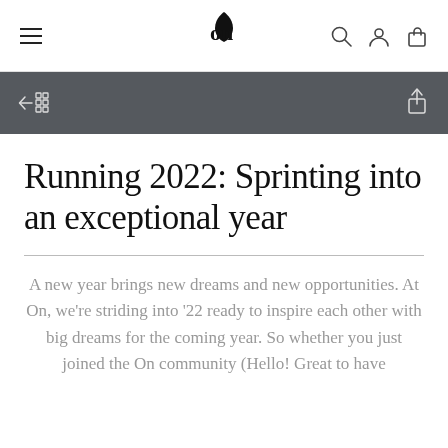On Running navigation bar with hamburger menu, On logo, search, account, and bag icons
[Figure (screenshot): Dark toolbar with back/grid navigation icon on left and share icon on right]
Running 2022: Sprinting into an exceptional year
A new year brings new dreams and new opportunities. At On, we're striding into '22 ready to inspire each other with big dreams for the coming year. So whether you just joined the On community (Hello! Great to have